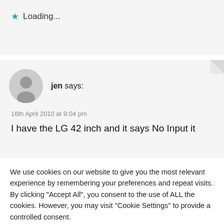★ Loading...
jen says:
16th April 2010 at 9:04 pm
I have the LG 42 inch and it says No Input  it
We use cookies on our website to give you the most relevant experience by remembering your preferences and repeat visits. By clicking "Accept All", you consent to the use of ALL the cookies. However, you may visit "Cookie Settings" to provide a controlled consent.
Cookie Settings
Accept All